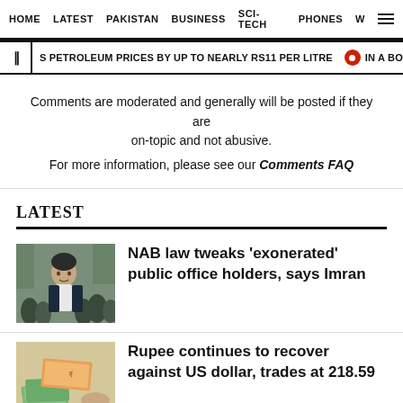HOME   LATEST   PAKISTAN   BUSINESS   SCI-TECH   PHONES   W
S PETROLEUM PRICES BY UP TO NEARLY RS11 PER LITRE   IN A BOOST TO DWIND
Comments are moderated and generally will be posted if they are on-topic and not abusive.
For more information, please see our Comments FAQ
LATEST
[Figure (photo): Photo of Imran Khan surrounded by people]
NAB law tweaks 'exonerated' public office holders, says Imran
[Figure (photo): Photo of hands counting currency notes (Pakistani rupees and US dollars)]
Rupee continues to recover against US dollar, trades at 218.59